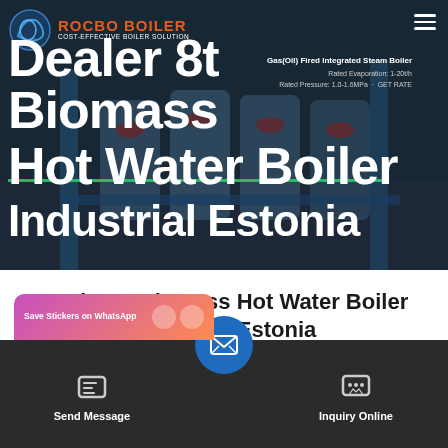[Figure (photo): Hero banner showing industrial biomass boiler machinery with dark overlay, Rocbo Boiler logo top-left, hamburger menu top-right, and large white title text overlay reading 'Dealer 8t Biomass Hot Water Boiler Industrial Estonia']
Dealer 8t Biomass Hot Water Boiler Industrial Estonia
[Figure (infographic): Bottom action bar with WhatsApp sticker card (pink/orange gradient), Send Message button on left with document icon, central circular blue email icon, and Inquiry Online button on right with chat icon]